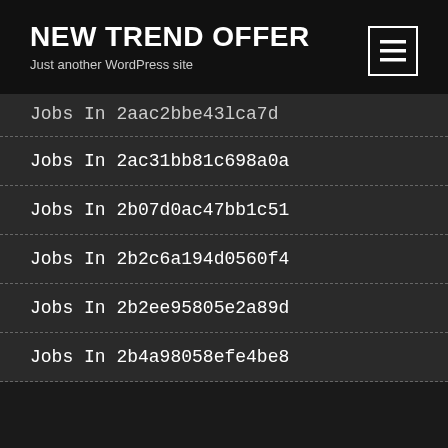NEW TREND OFFER
Just another WordPress site
Jobs In 2aac2bbe43lca7d
Jobs In 2ac31bb81c698a0a
Jobs In 2b07d0ac47bb1c51
Jobs In 2b2c6a194d0560f4
Jobs In 2b2ee95805e2a89d
Jobs In 2b4a98058efe4be8